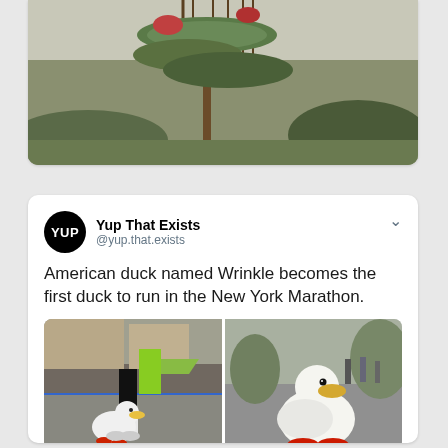[Figure (photo): Partially visible photo of a large artistic tree with floating layered canopies, mountains in background, Japanese garden style]
[Figure (screenshot): Tweet from @yup.that.exists (Yup That Exists) with two photos of a white duck named Wrinkle wearing red shoes running in the New York Marathon alongside human runners]
Yup That Exists
@yup.that.exists
American duck named Wrinkle becomes the first duck to run in the New York Marathon.